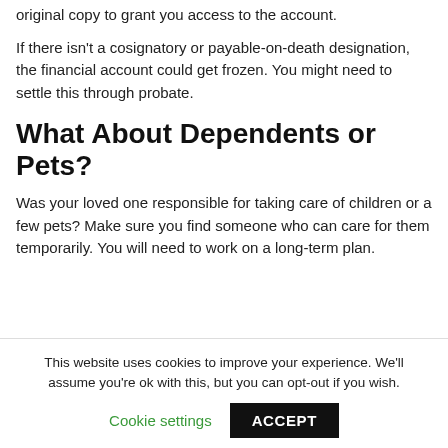original copy to grant you access to the account.
If there isn't a cosignatory or payable-on-death designation, the financial account could get frozen. You might need to settle this through probate.
What About Dependents or Pets?
Was your loved one responsible for taking care of children or a few pets? Make sure you find someone who can care for them temporarily. You will need to work on a long-term plan.
This website uses cookies to improve your experience. We'll assume you're ok with this, but you can opt-out if you wish.